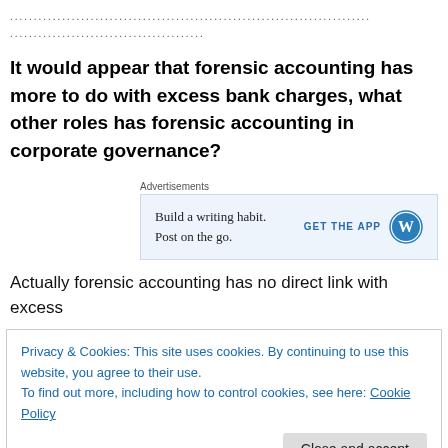....................................................................
.................................
It would appear that forensic accounting has more to do with excess bank charges, what other roles has forensic accounting in corporate governance?
[Figure (other): WordPress advertisement banner: 'Build a writing habit. Post on the go.' with GET THE APP button and WordPress logo]
Actually forensic accounting has no direct link with excess
Privacy & Cookies: This site uses cookies. By continuing to use this website, you agree to their use.
To find out more, including how to control cookies, see here: Cookie Policy
When you now marry forensic with accounting you now